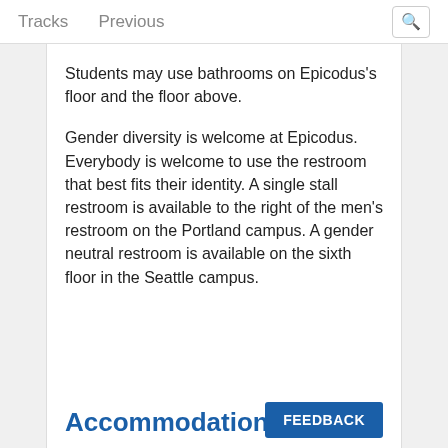Tracks   Previous
Students may use bathrooms on Epicodus's floor and the floor above.
Gender diversity is welcome at Epicodus. Everybody is welcome to use the restroom that best fits their identity. A single stall restroom is available to the right of the men's restroom on the Portland campus. A gender neutral restroom is available on the sixth floor in the Seattle campus.
Accommodation